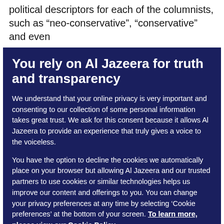political descriptors for each of the columnists, such as “neo-conservative”, “conservative” and even
You rely on Al Jazeera for truth and transparency
We understand that your online privacy is very important and consenting to our collection of some personal information takes great trust. We ask for this consent because it allows Al Jazeera to provide an experience that truly gives a voice to the voiceless.

You have the option to decline the cookies we automatically place on your browser but allowing Al Jazeera and our trusted partners to use cookies or similar technologies helps us improve our content and offerings to you. You can change your privacy preferences at any time by selecting ‘Cookie preferences’ at the bottom of your screen. To learn more, please view our Cookie Policy.